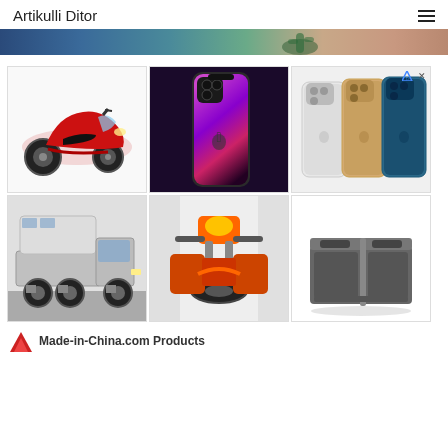Artikulli Ditor
[Figure (photo): Partial banner image showing colorful background with cactus and food items]
[Figure (photo): Red electric scooter/moped on white background]
[Figure (photo): iPhone 13 Pro in graphite color, front and back view on dark purple background]
[Figure (photo): Multiple iPhone 12 Pro phones in different colors (silver, gold, pacific blue) arranged side by side, with ad badge]
[Figure (photo): Large Ford truck with camper conversion on black lifted chassis]
[Figure (photo): Orange motorcycle/scooter seen from front/rear angle]
[Figure (photo): Gray plastic cleaning caddy/carrier with compartments]
Made-in-China.com Products